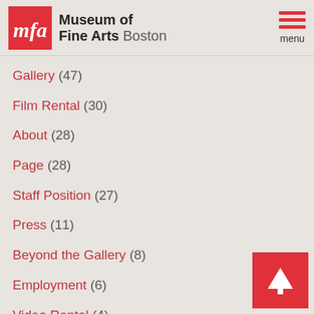[Figure (logo): Museum of Fine Arts Boston logo with red MFA square and text]
Gallery (47)
Film Rental (30)
About (28)
Page (28)
Staff Position (27)
Press (11)
Beyond the Gallery (8)
Employment (6)
Video Rental (4)
Hardcover (3)
Product (1)